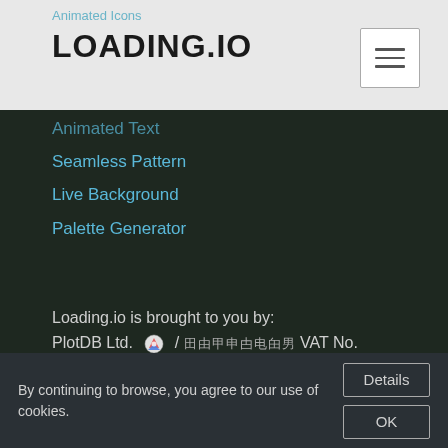LOADING.IO
Animated Icons
Animated Text
Seamless Pattern
Live Background
Palette Generator
Loading.io is brought to you by:
PlotDB Ltd. 🔰 / 瀛瀾瀛瀾瀛瀾瀛瀾 VAT No. 52518929
Service for making ajax loaders / loading gifs / preloaders and animated icons, live background, animated text in GIF / SVG / APNG / CSS.
✉  Customer Service: contact@loading.io
By continuing to browse, you agree to our use of cookies.